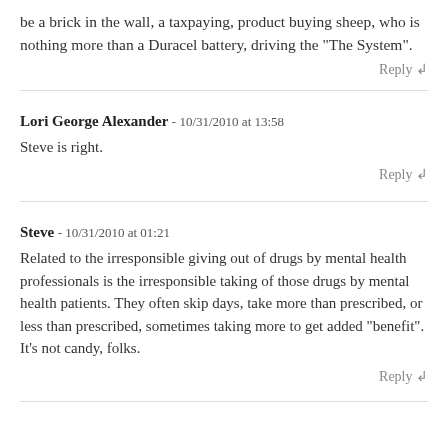be a brick in the wall, a taxpaying, product buying sheep, who is nothing more than a Duracel battery, driving the "The System".
Reply ↲
Lori George Alexander - 10/31/2010 at 13:58
Steve is right.
Reply ↲
Steve - 10/31/2010 at 01:21
Related to the irresponsible giving out of drugs by mental health professionals is the irresponsible taking of those drugs by mental health patients. They often skip days, take more than prescribed, or less than prescribed, sometimes taking more to get added "benefit". It's not candy, folks.
Reply ↲